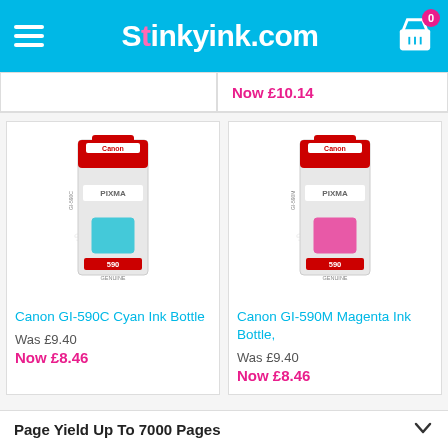Stinkyink.com
Now £10.14
[Figure (photo): Canon GI-590C Cyan Ink Bottle product photo with Canon and PIXMA branding, bottle number 590, cyan ink color]
[Figure (photo): Canon GI-590M Magenta Ink Bottle product photo with Canon and PIXMA branding, bottle number 590, magenta ink color]
Canon GI-590C Cyan Ink Bottle
Was £9.40
Now £8.46
Canon GI-590M Magenta Ink Bottle,
Was £9.40
Now £8.46
Page Yield Up To 7000 Pages